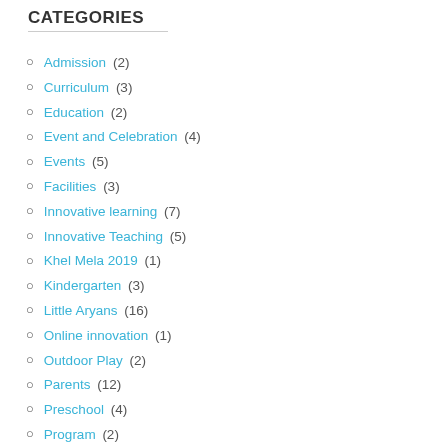CATEGORIES
Admission (2)
Curriculum (3)
Education (2)
Event and Celebration (4)
Events (5)
Facilities (3)
Innovative learning (7)
Innovative Teaching (5)
Khel Mela 2019 (1)
Kindergarten (3)
Little Aryans (16)
Online innovation (1)
Outdoor Play (2)
Parents (12)
Preschool (4)
Program (2)
Sports (1)